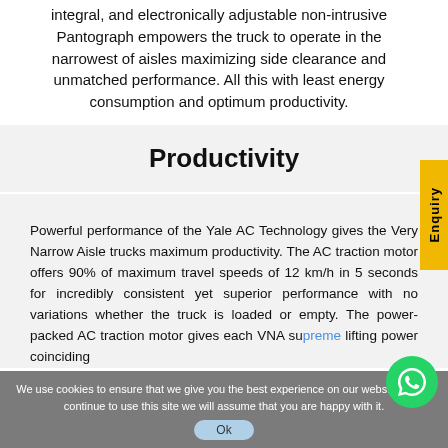integral, and electronically adjustable non-intrusive Pantograph empowers the truck to operate in the narrowest of aisles maximizing side clearance and unmatched performance. All this with least energy consumption and optimum productivity.
Productivity
Powerful performance of the Yale AC Technology gives the Very Narrow Aisle trucks maximum productivity. The AC traction motor offers 90% of maximum travel speeds of 12 km/h in 5 seconds for incredibly consistent yet superior performance with no variations whether the truck is loaded or empty. The power-packed AC traction motor gives each VNA supreme lifting power coinciding